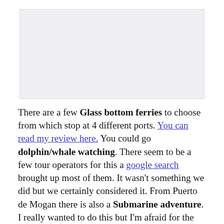[Figure (photo): Placeholder image area at the top of the page]
There are a few Glass bottom ferries to choose from which stop at 4 different ports. You can read my review here. You could go dolphin/whale watching. There seem to be a few tour operators for this a google search brought up most of them. It wasn't something we did but we certainly considered it. From Puerto de Mogan there is also a Submarine adventure. I really wanted to do this but I'm afraid for the price and the time on board we just couldn't